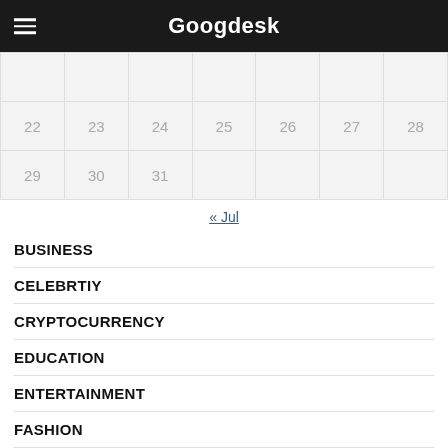Googdesk
|  |  |  |  |  |  |  |
| 22 | 23 | 24 | 25 | 26 | 27 | 28 |
| 29 | 30 | 31 |  |  |  |  |
« Jul
BUSINESS
CELEBRTIY
CRYPTOCURRENCY
EDUCATION
ENTERTAINMENT
FASHION
FINANCE